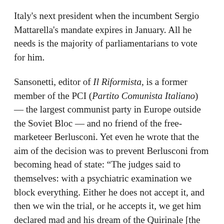Italy's next president when the incumbent Sergio Mattarella's mandate expires in January. All he needs is the majority of parliamentarians to vote for him.
Sansonetti, editor of Il Riformista, is a former member of the PCI (Partito Comunista Italiano) — the largest communist party in Europe outside the Soviet Bloc — and no friend of the free-marketeer Berlusconi. Yet even he wrote that the aim of the decision was to prevent Berlusconi from becoming head of state: “The judges said to themselves: with a psychiatric examination we block everything. Either he does not accept it, and then we win the trial, or he accepts it, we get him declared mad and his dream of the Quirinale [the presidential palace] is dead.”
In particular, he urged fellow Italian Left-wingers to stop